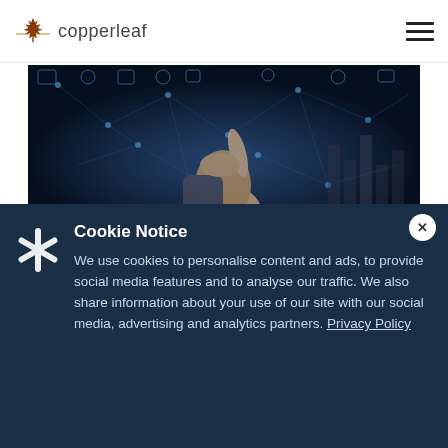copperleaf
[Figure (photo): A person in a business suit pointing at a digital network visualization interface with icons and data visualizations on a dark blue background]
The Business Council of British Columbia is a collaborative, non-partisan organization whose mission is
Cookie Notice
We use cookies to personalise content and ads, to provide social media features and to analyse our traffic. We also share information about your use of our site with our social media, advertising and analytics partners. Privacy Policy